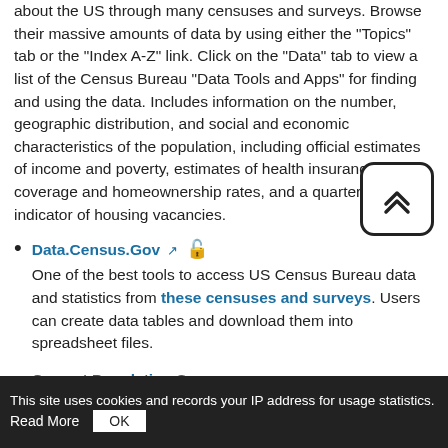about the US through many censuses and surveys. Browse their massive amounts of data by using either the "Topics" tab or the "Index A-Z" link. Click on the "Data" tab to view a list of the Census Bureau "Data Tools and Apps" for finding and using the data. Includes information on the number, geographic distribution, and social and economic characteristics of the population, including official estimates of income and poverty, estimates of health insurance coverage and homeownership rates, and a quarterly indicator of housing vacancies.
Data.Census.Gov — One of the best tools to access US Census Bureau data and statistics from these censuses and surveys. Users can create data tables and download them into spreadsheet files.
Current Population Survey — A joint project between the Bureau of Labor Statistics and
This site uses cookies and records your IP address for usage statistics. Read More OK